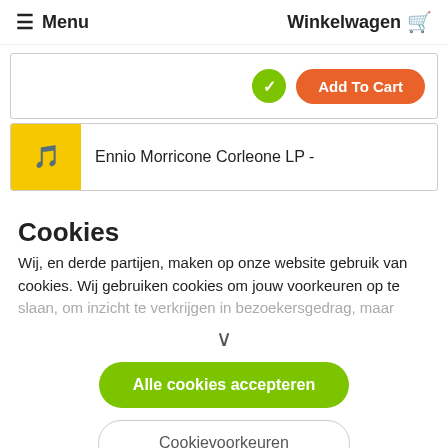≡ Menu    Winkelwagen 🛒
[Figure (screenshot): Partial product card with green checkmark circle button and orange 'Add To Cart' button]
[Figure (screenshot): Partial product card with yellow album cover thumbnail and product title 'Ennio Morricone Corleone LP -']
Cookies
Wij, en derde partijen, maken op onze website gebruik van cookies. Wij gebruiken cookies om jouw voorkeuren op te slaan, om inzicht te verkrijgen in bezoekersgedrag, maar
∨
Alle cookies accepteren
Cookievoorkeuren